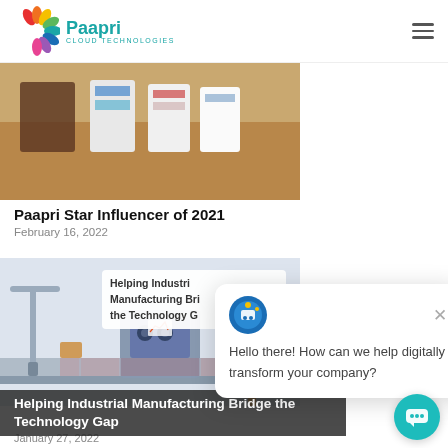Paapri Cloud Technologies
[Figure (photo): Photo of product boxes/packages on a wooden surface]
Paapri Star Influencer of 2021
February 16, 2022
[Figure (illustration): Illustration of industrial manufacturing machinery with robotic arms and conveyor belts]
Helping Industrial Manufacturing Bridge the Technology G
Helping Industrial Manufacturing Bridge the Technology Gap
January 27, 2022